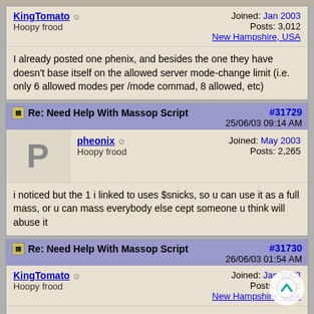KingTomato | Joined: Jan 2003 | Posts: 3,012 | New Hampshire, USA | Hoopy frood
I already posted one phenix, and besides the one they have doesn't base itself on the allowed server mode-change limit (i.e. only 6 allowed modes per /mode commad, 8 allowed, etc)
Re: Need Help With Massop Script #31729 25/06/03 09:14 AM
pheonix | Hoopy frood | Joined: May 2003 | Posts: 2,265
i noticed but the 1 i linked to uses $snicks, so u can use it as a full mass, or u can mass everybody else cept someone u think will abuse it
Re: Need Help With Massop Script #31730 26/06/03 01:54 AM
KingTomato | Hoopy frood | Joined: Jan 2003 | Posts: 3,012 | New Hampshire, USA
to me a mass mode is everyone in the channel, not the mass of those selected... Anyways, what if you select 20